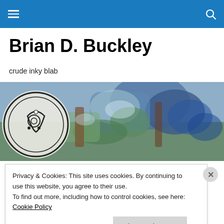Navigation bar with menu and search icons
Brian D. Buckley
crude inky blab
[Figure (illustration): Banner image showing abstract colorful painting with a circular logo/emblem on the left featuring a stylized figure, and impressionistic painted trees and landscape in blue, green, and brown tones.]
Forty Minute Story “Graced”
Privacy & Cookies: This site uses cookies. By continuing to use this website, you agree to their use.
To find out more, including how to control cookies, see here: Cookie Policy
Close and accept